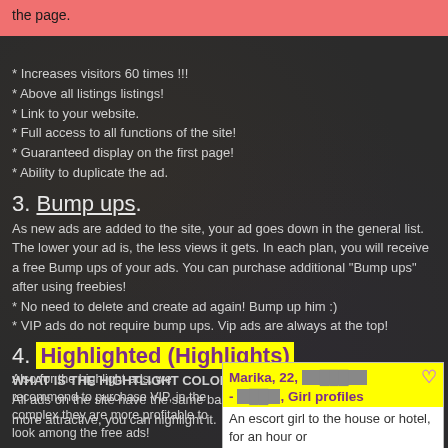the page.
* Increases visitors 60 times !!!
* Above all listings listings!
* Link to your website.
* Full access to all functions of the site!
* Guaranteed display on the first page!
* Ability to duplicate the ad.
3. Bump ups.
As new ads are added to the site, your ad goes down in the general list. The lower your ad is, the less views it gets. In each plan, you will receive a free Bump ups of your ads. You can purchase additional "Bump ups" after using freebies!
* No need to delete and create ad again! Bump up him :)
* VIP ads do not require bump ups. Vip ads are always at the top!
4. Highlighted (Highlights)
WHAT IS THE HIGHTLIGHT COLOR?
All ads on the site have the same background. In order to make your ad more attractive, you can highlight it.
Also for the highlight ads, we recommend to purchase VIP, in the complex they are more profitable to look among the free ads!
[Figure (screenshot): Ad card showing Marika, 22, with yellow highlighted header, Girl profiles subheader, and text 'An escort girl to the house or hotel, for an hour or']